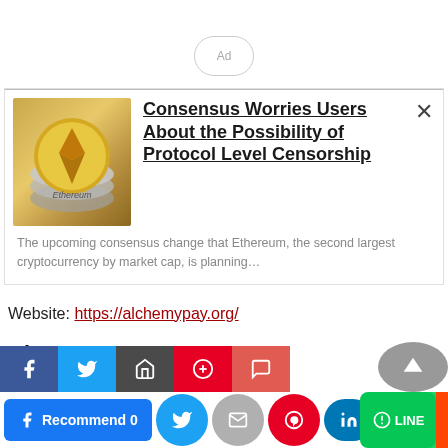[Figure (other): Ad placeholder circle with text 'Ad']
[Figure (photo): Photo of Ethereum gold coin and silver coins]
Consensus Worries Users About the Possibility of Protocol Level Censorship
The upcoming consensus change that Ethereum, the second largest cryptocurrency by market cap, is planning…
Website: https://alchemypay.org/
About STEPN
[Figure (infographic): Social media sharing buttons row: Facebook Recommend 0, Twitter, Email, Pinterest, LinkedIn, WhatsApp, LINE, Reddit, Tumblr]